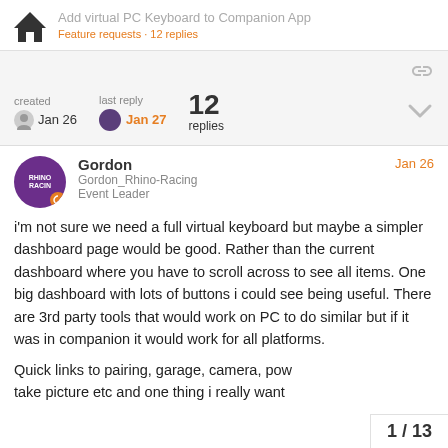Add virtual PC Keyboard to Companion App
created Jan 26   last reply Jan 27   12 replies
Gordon
Gordon_Rhino-Racing
Event Leader
Jan 26
i'm not sure we need a full virtual keyboard but maybe a simpler dashboard page would be good. Rather than the current dashboard where you have to scroll across to see all items. One big dashboard with lots of buttons i could see being useful. There are 3rd party tools that would work on PC to do similar but if it was in companion it would work for all platforms.
Quick links to pairing, garage, camera, pow... take picture etc and one thing i really want...
1 / 13